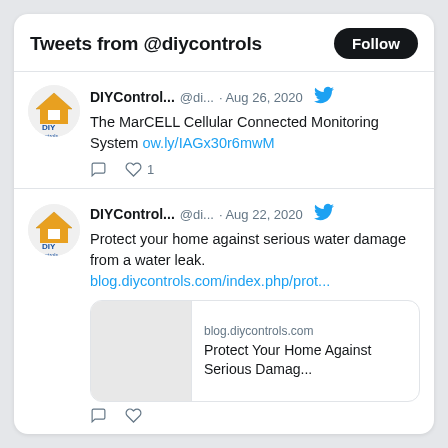Tweets from @diycontrols
DIYControl... @di... · Aug 26, 2020
The MarCELL Cellular Connected Monitoring System ow.ly/IAGx30r6mwM
DIYControl... @di... · Aug 22, 2020
Protect your home against serious water damage from a water leak.
blog.diycontrols.com/index.php/prot...
blog.diycontrols.com
Protect Your Home Against Serious Damag...